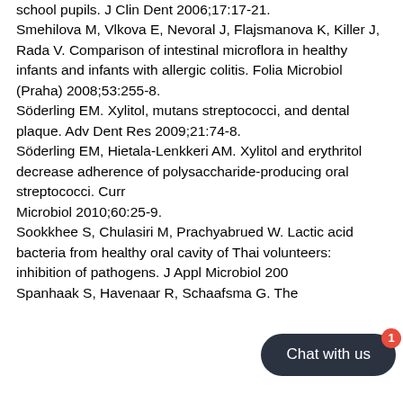school pupils. J Clin Dent 2006;17:17-21.
Smehilova M, Vlkova E, Nevoral J, Flajsmanova K, Killer J, Rada V. Comparison of intestinal microflora in healthy infants and infants with allergic colitis. Folia Microbiol (Praha) 2008;53:255-8.
Söderling EM. Xylitol, mutans streptococci, and dental plaque. Adv Dent Res 2009;21:74-8.
Söderling EM, Hietala-Lenkkeri AM. Xylitol and erythritol decrease adherence of polysaccharide-producing oral streptococci. Curr Microbiol 2010;60:25-9.
Sookkhee S, Chulasiri M, Prachyabrued W. Lactic acid bacteria from healthy oral cavity of Thai volunteers: inhibition of pathogens. J Appl Microbiol 200...
Spanhaak S, Havenaar R, Schaafsma G. The